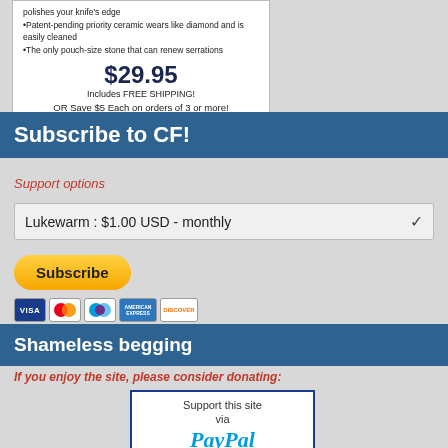polishes your knife's edge
•Patent-pending priority ceramic wears like diamond and is easily cleaned
•The only pouch-size stone that can renew serrations
$29.95
Includes FREE SHIPPING!
OR Save $5 Each on orders of 3 or more!
WEB: http://americastone.net    PH 317.258.8204
Subscribe to CF!
Support options
Lukewarm : $1.00 USD - monthly
[Figure (logo): PayPal Subscribe button with credit card logos (Visa, Mastercard, Maestro, Amex, Discover)]
Shameless begging
If you enjoy the site, please consider donating:
[Figure (logo): PayPal support box with text 'Support this site via PayPal']